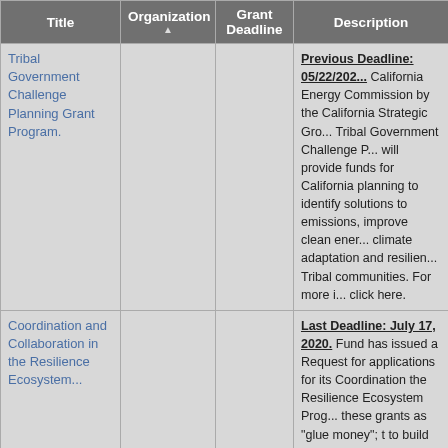| Title | Organization ▲ | Grant Deadline | Description |
| --- | --- | --- | --- |
| Tribal Government Challenge Planning Grant Program. |  |  | Previous Deadline: 05/22/202... California Energy Commission by the California Strategic Gro... Tribal Government Challenge P... will provide funds for California planning to identify solutions to emissions, improve clean ener... climate adaptation and resilien... Tribal communities. For more i... click here. |
| Coordination and Collaboration in the Resilience Ecosystem... |  |  | Last Deadline: July 17, 2020. Fund has issued a Request for applications for its Coordination the Resilience Ecosystem Prog... these grants as "glue money"; t to build upon, strengthen or co... or resources within the climate than funding the creation of ne... competition is designed to ince collaborations to scale existing of these grants is intentionally... |